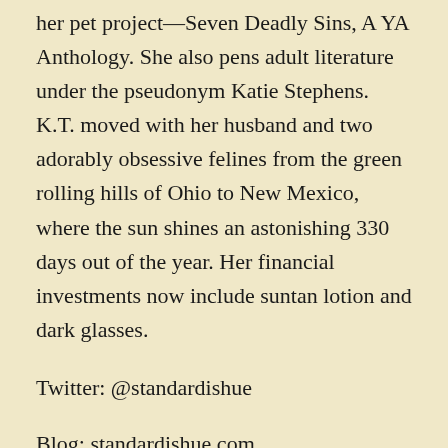her pet project—Seven Deadly Sins, A YA Anthology. She also pens adult literature under the pseudonym Katie Stephens. K.T. moved with her husband and two adorably obsessive felines from the green rolling hills of Ohio to New Mexico, where the sun shines an astonishing 330 days out of the year. Her financial investments now include suntan lotion and dark glasses.
Twitter: @standardishue
Blog: standardishue.com
Facebook: